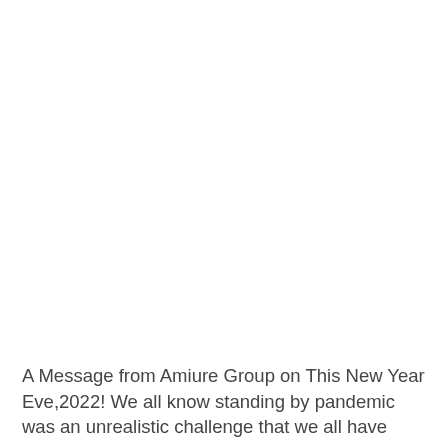A Message from Amiure Group on This New Year Eve,2022! We all know standing by pandemic was an unrealistic challenge that we all have